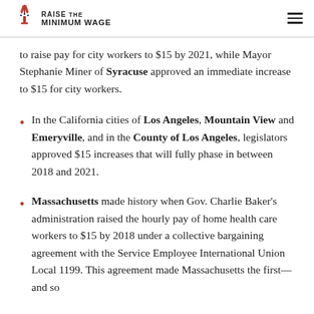RAISE THE MINIMUM WAGE
to raise pay for city workers to $15 by 2021, while Mayor Stephanie Miner of Syracuse approved an immediate increase to $15 for city workers.
In the California cities of Los Angeles, Mountain View and Emeryville, and in the County of Los Angeles, legislators approved $15 increases that will fully phase in between 2018 and 2021.
Massachusetts made history when Gov. Charlie Baker's administration raised the hourly pay of home health care workers to $15 by 2018 under a collective bargaining agreement with the Service Employee International Union Local 1199. This agreement made Massachusetts the first—and so